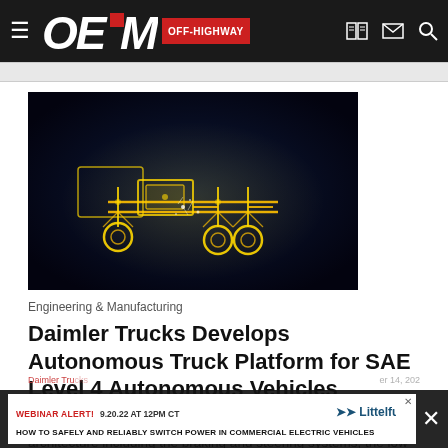OEM OFF-HIGHWAY
[Figure (photo): Golden glowing truck chassis/drivetrain components on a dark blue background, showing axles, wheels, and mechanical systems as a digital render]
Engineering & Manufacturing
Daimler Trucks Develops Autonomous Truck Platform for SAE Level 4 Autonomous Vehicles
The platform includes four key areas with a redundant architecture including the braking and steering systems, the low voltage power net and the network communications.
Daimler Trucks | September 14, 2022 | WEBINAR ALERT! 9.20.22 AT 12PM CT HOW TO SAFELY AND RELIABLY SWITCH POWER IN COMMERCIAL ELECTRIC VEHICLES | Littelfuse